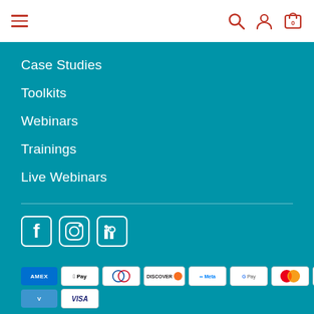Navigation header with hamburger menu, search, account, and cart icons
Case Studies
Toolkits
Webinars
Trainings
Live Webinars
[Figure (infographic): Social media icons: Facebook, Instagram, LinkedIn]
[Figure (infographic): Payment method badges: AMEX, Apple Pay, Diners Club, Discover, Meta Pay, Google Pay, Mastercard, PayPal, Shop Pay, Venmo, Visa]